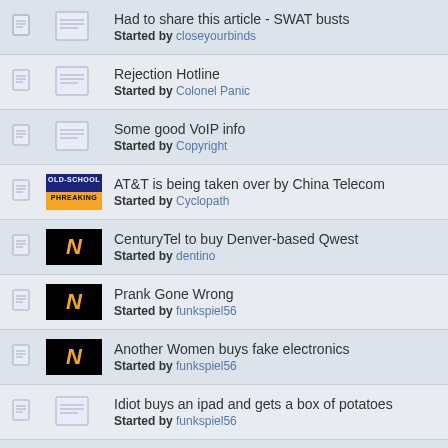Had to share this article - SWAT busts
Started by closeyourbinds
Rejection Hotline
Started by Colonel Panic
Some good VoIP info
Started by Copyright
AT&T is being taken over by China Telecom
Started by Cyclopath
CenturyTel to buy Denver-based Qwest
Started by dentino
Prank Gone Wrong
Started by funkspiel56
Another Women buys fake electronics
Started by funkspiel56
Idiot buys an ipad and gets a box of potatoes
Started by funkspiel56
hewlett packard and "pretexting"
Started by gabigabihey